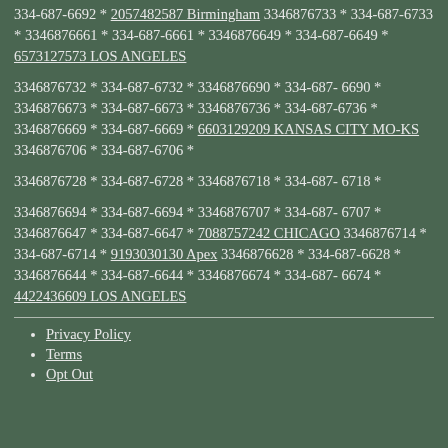334-687-6692 * 2057482587 Birmingham 3346876733 * 334-687-6733 * 3346876661 * 334-687-6661 * 3346876649 * 334-687-6649 * 6573127573 LOS ANGELES
3346876732 * 334-687-6732 * 3346876690 * 334-687-6690 * 3346876673 * 334-687-6673 * 3346876736 * 334-687-6736 * 3346876669 * 334-687-6669 * 6603129209 KANSAS CITY MO-KS 3346876706 * 334-687-6706 *
3346876728 * 334-687-6728 * 3346876718 * 334-687-6718 *
3346876694 * 334-687-6694 * 3346876707 * 334-687-6707 * 3346876647 * 334-687-6647 * 7088757242 CHICAGO 3346876714 * 334-687-6714 * 9193030130 Apex 3346876628 * 334-687-6628 * 3346876644 * 334-687-6644 * 3346876674 * 334-687-6674 * 4422436609 LOS ANGELES
Privacy Policy
Terms
Opt Out